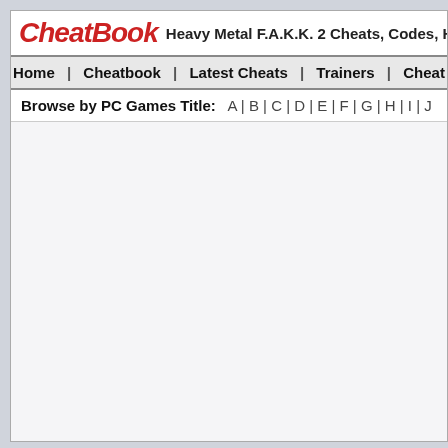CheatBook - Heavy Metal F.A.K.K. 2 Cheats, Codes, Hints
Home | Cheatbook | Latest Cheats | Trainers | Cheat
Browse by PC Games Title: A | B | C | D | E | F | G | H | I | J
Hints and Tips for: Heavy Metal F.A.K.K. 2
[Figure (photo): Dark screenshot of Heavy Metal F.A.K.K. 2 game]
[Figure (photo): Blue/white screenshot of Heavy Metal F.A.K.K. 2 game with sky/clouds]